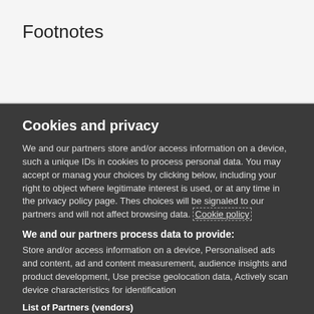Footnotes
Cookies and privacy
We and our partners store and/or access information on a device, such as unique IDs in cookies to process personal data. You may accept or manage your choices by clicking below, including your right to object where legitimate interest is used, or at any time in the privacy policy page. These choices will be signaled to our partners and will not affect browsing data. Cookie policy
We and our partners process data to provide:
Store and/or access information on a device, Personalised ads and content, ad and content measurement, audience insights and product development, Use precise geolocation data, Actively scan device characteristics for identification
List of Partners (vendors)